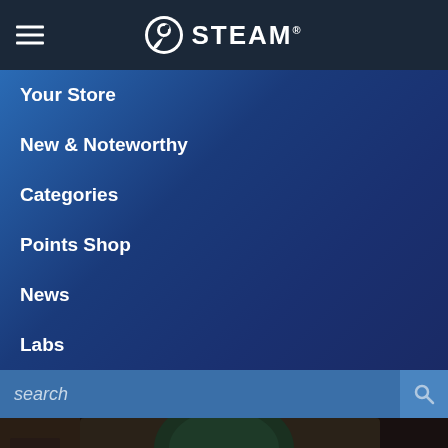STEAM
Your Store
New & Noteworthy
Categories
Points Shop
News
Labs
search
[Figure (illustration): Fantasy game art showing an anthropomorphic bear character wearing a brown hooded cloak, seated and looking downward in a dimly lit tavern or dungeon setting. A dark bottle is visible on the right side.]